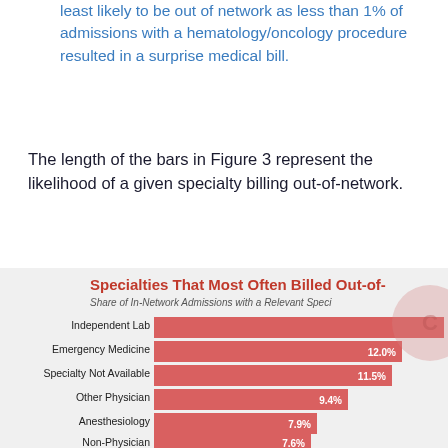least likely to be out of network as less than 1% of admissions with a hematology/oncology procedure resulted in a surprise medical bill.
The length of the bars in Figure 3 represent the likelihood of a given specialty billing out-of-network.
[Figure (bar-chart): Specialties That Most Often Billed Out-of-Network]